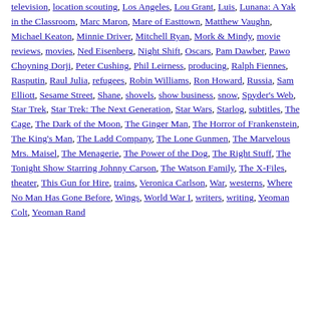television, location scouting, Los Angeles, Lou Grant, Luis, Lunana: A Yak in the Classroom, Marc Maron, Mare of Easttown, Matthew Vaughn, Michael Keaton, Minnie Driver, Mitchell Ryan, Mork & Mindy, movie reviews, movies, Ned Eisenberg, Night Shift, Oscars, Pam Dawber, Pawo Choyning Dorji, Peter Cushing, Phil Leirness, producing, Ralph Fiennes, Rasputin, Raul Julia, refugees, Robin Williams, Ron Howard, Russia, Sam Elliott, Sesame Street, Shane, shovels, show business, snow, Spyder's Web, Star Trek, Star Trek: The Next Generation, Star Wars, Starlog, subtitles, The Cage, The Dark of the Moon, The Ginger Man, The Horror of Frankenstein, The King's Man, The Ladd Company, The Lone Gunmen, The Marvelous Mrs. Maisel, The Menagerie, The Power of the Dog, The Right Stuff, The Tonight Show Starring Johnny Carson, The Watson Family, The X-Files, theater, This Gun for Hire, trains, Veronica Carlson, War, westerns, Where No Man Has Gone Before, Wings, World War I, writers, writing, Yeoman Colt, Yeoman Rand